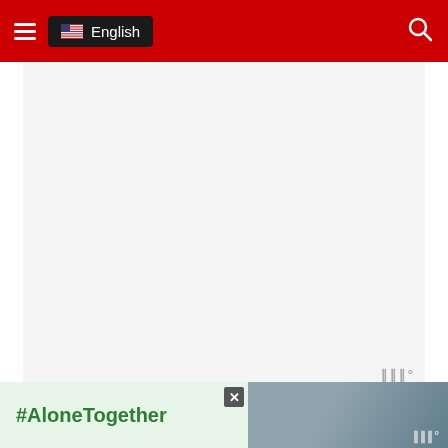≡  🇺🇸 English
[Figure (other): Large white/light grey advertisement placeholder area with Moat watermark in bottom right corner]
What happens on children's day in Japan?
Hoisting carp-shaped flags is one of the most important...
[Figure (other): Bottom banner advertisement showing #AloneTogether hashtag in green text on light green background, with photo of two people waving, X close button, and Moat watermark]